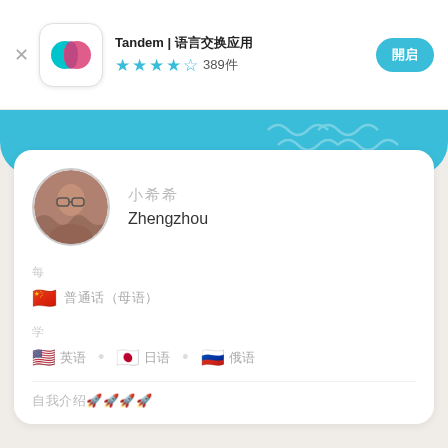Tandem | 语言交换应用 ★★★★☆ 389件
[Figure (screenshot): Tandem app icon with overlapping pink and teal chat bubble logos on white rounded square background]
Tandem | 语言交换应用
★★★★☆ 389件
[Figure (photo): Circular profile photo of a young man wearing glasses, with brownish background]
小希希
Zhengzhou
每
🇨🇳 普通话（母语）
学
🇺🇸 英语   🇯🇵 日语   🇷🇺 俄语
自我介绍🚀🚀🚀🚀